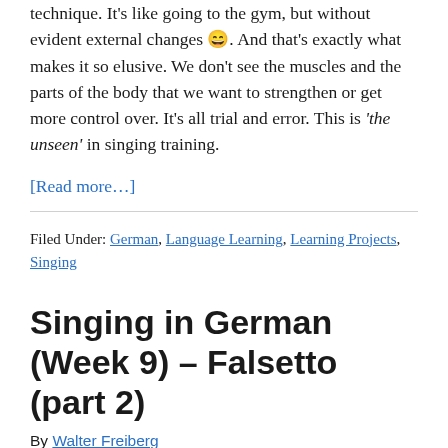technique. It's like going to the gym, but without evident external changes 😄. And that's exactly what makes it so elusive. We don't see the muscles and the parts of the body that we want to strengthen or get more control over. It's all trial and error. This is 'the unseen' in singing training.
[Read more…]
Filed Under: German, Language Learning, Learning Projects, Singing
Singing in German (Week 9) – Falsetto (part 2)
By Walter Freiberg